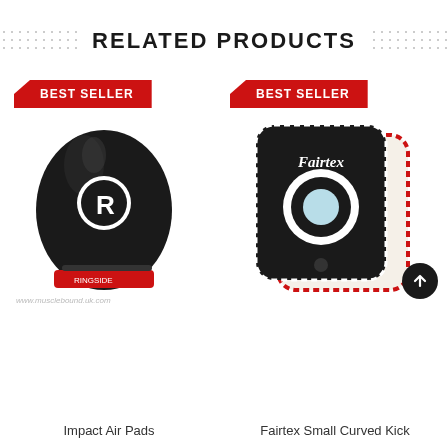RELATED PRODUCTS
[Figure (photo): Ringside black leather Impact Air focus pad with white R logo and red Ringside label]
[Figure (photo): Fairtex black and white small curved kick pad with Fairtex logo and target circle]
Impact Air Pads
Fairtex Small Curved Kick